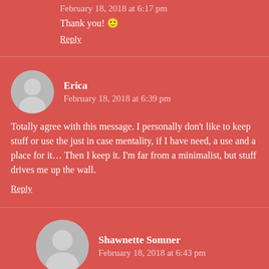February 18, 2018 at 6:17 pm
Thank you! 🙂
Reply
Erica
February 18, 2018 at 6:39 pm
Totally agree with this message. I personally don't like to keep stuff or use the just in case mentality, if I have need, a use and a place for it… Then I keep it. I'm far from a minimalist, but stuff drives me up the wall.
Reply
Shawnette Somner
February 18, 2018 at 6:43 pm
I'm getting to that point and making good progress,